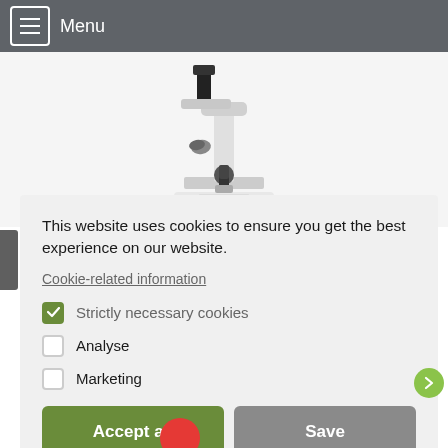Menu
[Figure (photo): A Bresser scientific microscope with white body and black optics, photographed on a white background with a slight reflection below.]
This website uses cookies to ensure you get the best experience on our website.
Cookie-related information
Strictly necessary cookies
Analyse
Marketing
Accept all
Save